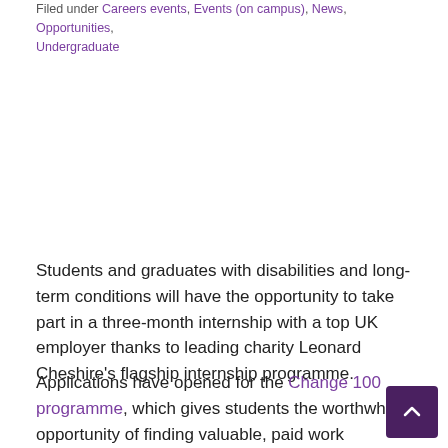Filed under Careers events, Events (on campus), News, Opportunities, Undergraduate
Students and graduates with disabilities and long-term conditions will have the opportunity to take part in a three-month internship with a top UK employer thanks to leading charity Leonard Cheshire's flagship internship programme.
Applications have opened for the Change 100 programme, which gives students the worthwhile opportunity of finding valuable, paid work experience with leading organisations across a range of industries and sectors.